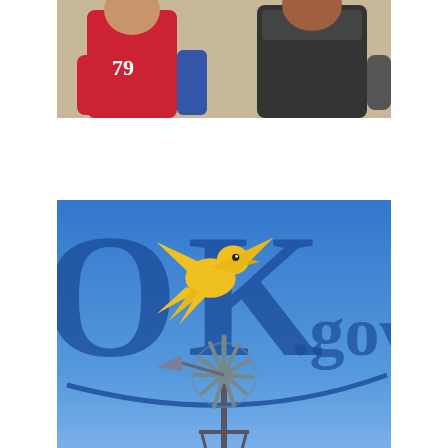[Figure (photo): Two athletes in sports jerseys, one wearing number 79 in red, posing for a photo]
[Figure (logo): OK.gov logo — the Oklahoma state government website logo showing 'OK.gov' in blue letters with a yellow thunderbird/eagle over a blue sky with a metal windmill in the foreground]